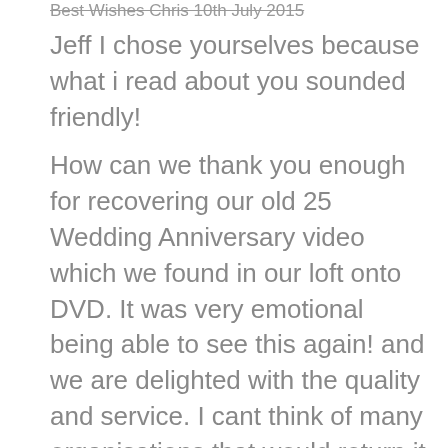Best Wishes Chris 10th July 2015
Jeff I chose yourselves because what i read about you sounded friendly!
How can we thank you enough for recovering our old 25 Wedding Anniversary video which we found in our loft onto DVD. It was very emotional being able to see this again! and we are delighted with the quality and service. I cant think of many organisations that would return it in a couple of days. The charge for a further conversion, and copy of the anniversary was so cheap, and we will definitely be back to use this service again. We will also be recommending yourselves to